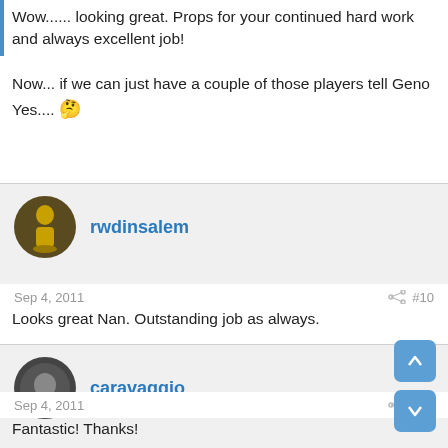Wow...... looking great. Props for your continued hard work and always excellent job!

Now... if we can just have a couple of those players tell Geno Yes.... 🤔
rwdinsalem
Sep 4, 2011  #10
Looks great Nan. Outstanding job as always.
caravaggio
Sep 4, 2011  #11
Fantastic! Thanks!